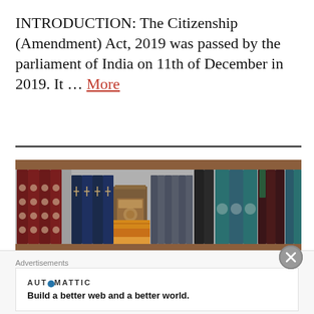INTRODUCTION: The Citizenship (Amendment) Act, 2019 was passed by the parliament of India on 11th of December in 2019. It … More
[Figure (photo): A photograph of a wooden bookshelf filled with numerous books of various sizes, colors and styles including leather-bound volumes.]
Advertisements
AUTOMATTIC
Build a better web and a better world.